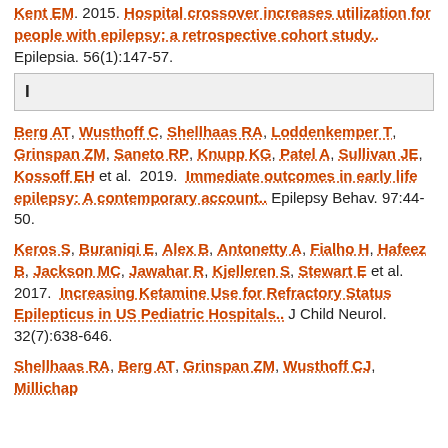Kent EM.  2015.  Hospital crossover increases utilization for people with epilepsy: a retrospective cohort study..  Epilepsia. 56(1):147-57.
I
Berg AT, Wusthoff C, Shellhaas RA, Loddenkemper T, Grinspan ZM, Saneto RP, Knupp KG, Patel A, Sullivan JE, Kossoff EH et al.  2019.  Immediate outcomes in early life epilepsy: A contemporary account..  Epilepsy Behav. 97:44-50.
Keros S, Buraniqi E, Alex B, Antonetty A, Fialho H, Hafeez B, Jackson MC, Jawahar R, Kjelleren S, Stewart E et al.  2017.  Increasing Ketamine Use for Refractory Status Epilepticus in US Pediatric Hospitals..  J Child Neurol. 32(7):638-646.
Shellhaas RA, Berg AT, Grinspan ZM, Wusthoff CJ, Millichap JJ, Loddenkemper T, Saneto RP, Chu CJ, Shellhaas SM...